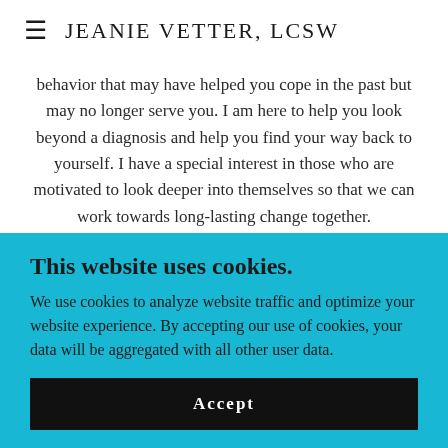≡  JEANIE VETTER, LCSW
behavior that may have helped you cope in the past but may no longer serve you. I am here to help you look beyond a diagnosis and help you find your way back to yourself. I have a special interest in those who are motivated to look deeper into themselves so that we can work towards long-lasting change together.
This website uses cookies.
We use cookies to analyze website traffic and optimize your website experience. By accepting our use of cookies, your data will be aggregated with all other user data.
Accept